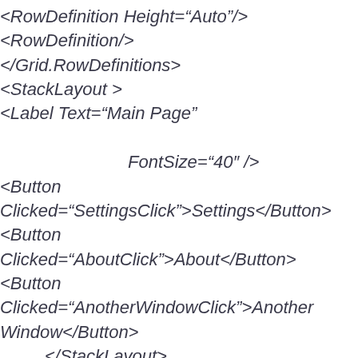<RowDefinition Height="Auto"/>
    <RowDefinition/>
</Grid.RowDefinitions>
<StackLayout >
    <Label Text="Main Page"

                FontSize="40" />
        <Button
Clicked="SettingsClick">Settings</Button>
        <Button
Clicked="AboutClick">About</Button>
        <Button
Clicked="AnotherWindowClick">Another Window</Button>
    </StackLayout>
    <ListView Grid.Row="1"
ItemsSource="{Binding Contacts}">
</ListView>